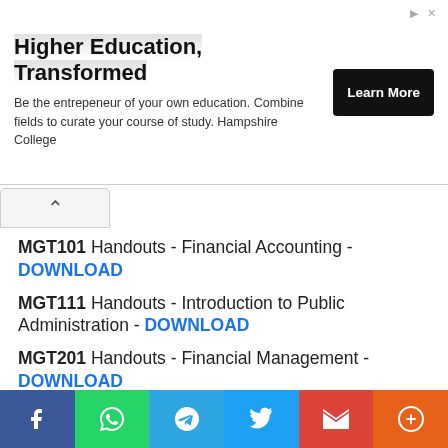[Figure (other): Advertisement banner for Hampshire College: 'Higher Education, Transformed' with Learn More button]
MGT101 Handouts - Financial Accounting - DOWNLOAD
MGT111 Handouts - Introduction to Public Administration - DOWNLOAD
MGT201 Handouts - Financial Management - DOWNLOAD
MGT211 Handouts - Introduction to Business - DOWNLOAD
MGT301 Handouts - Principles of Marketing - DOWNLOAD (partial, clipped)
[Figure (other): Social share bar with Facebook, WhatsApp, Telegram, Twitter, Gmail, and More buttons]